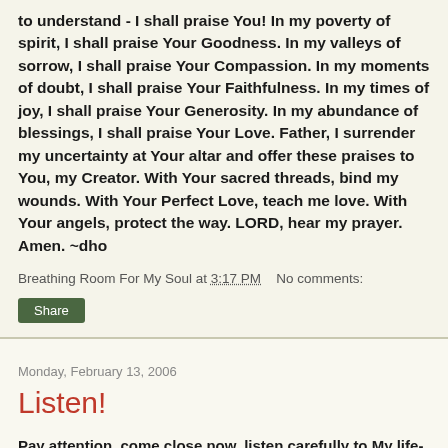to understand - I shall praise You! In my poverty of spirit, I shall praise Your Goodness. In my valleys of sorrow, I shall praise Your Compassion. In my moments of doubt, I shall praise Your Faithfulness. In my times of joy, I shall praise Your Generosity. In my abundance of blessings, I shall praise Your Love. Father, I surrender my uncertainty at Your altar and offer these praises to You, my Creator. With Your sacred threads, bind my wounds. With Your Perfect Love, teach me love. With Your angels, protect the way. LORD, hear my prayer. Amen. ~dho
Breathing Room For My Soul at 3:17 PM    No comments:
Share
Monday, February 13, 2006
Listen!
Pay attention, come close now, listen carefully to My life-giving, life-nourishing words. Isaiah 55:3 (the